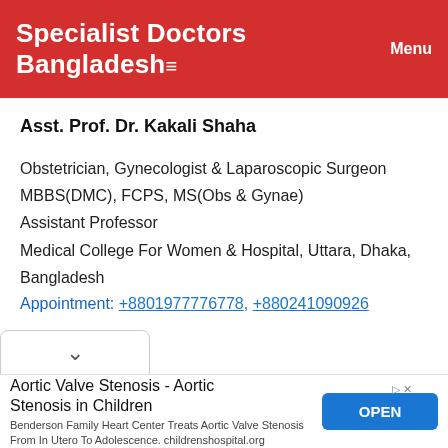Specialist Doctors Bangladesh Menu
Asst. Prof. Dr. Kakali Shaha
Obstetrician, Gynecologist & Laparoscopic Surgeon
MBBS(DMC), FCPS, MS(Obs & Gynae)
Assistant Professor
Medical College For Women & Hospital, Uttara, Dhaka, Bangladesh
Appointment: +8801977776778, +880241090926
[Figure (screenshot): Dropdown chevron button area]
Aortic Valve Stenosis - Aortic Stenosis in Children
Benderson Family Heart Center Treats Aortic Valve Stenosis From In Utero To Adolescence. childrenshospital.org